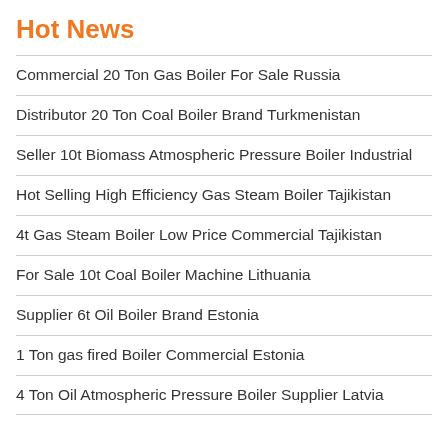Hot News
Commercial 20 Ton Gas Boiler For Sale Russia
Distributor 20 Ton Coal Boiler Brand Turkmenistan
Seller 10t Biomass Atmospheric Pressure Boiler Industrial
Hot Selling High Efficiency Gas Steam Boiler Tajikistan
4t Gas Steam Boiler Low Price Commercial Tajikistan
For Sale 10t Coal Boiler Machine Lithuania
Supplier 6t Oil Boiler Brand Estonia
1 Ton gas fired Boiler Commercial Estonia
4 Ton Oil Atmospheric Pressure Boiler Supplier Latvia